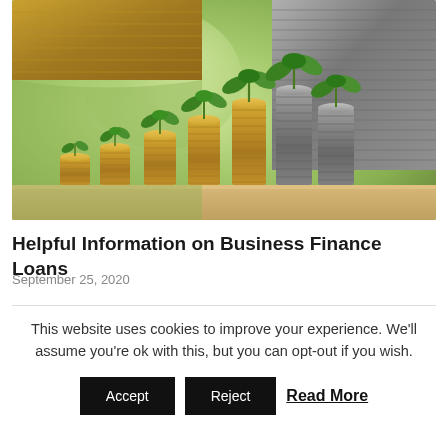[Figure (photo): Photo of growing stacks of coins with small green seedling plants on top of each stack, arranged in ascending height order, with large coin stacks visible at top. Blurred green natural background. Represents business finance growth.]
Helpful Information on Business Finance Loans
September 25, 2020
This website uses cookies to improve your experience. We'll assume you're ok with this, but you can opt-out if you wish.